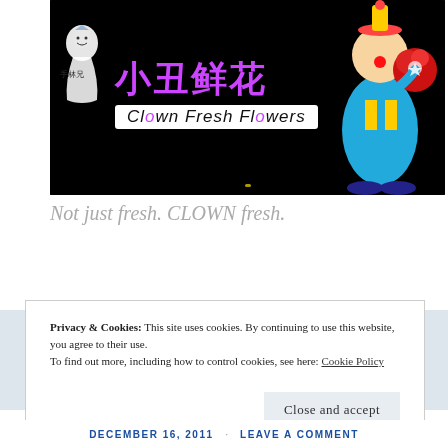[Figure (photo): Nighttime illuminated sign for 'Clown Fresh Flowers' (小丑鲜花) showing Chinese characters in purple neon, English subtitle in white box, a clown mascot figure holding a red bouquet on the right, and a small cartoon character on the left, all against a black background.]
Not just fresh. CLOWN fresh.
Privacy & Cookies: This site uses cookies. By continuing to use this website, you agree to their use.
To find out more, including how to control cookies, see here: Cookie Policy
Close and accept
DECEMBER 16, 2011 · LEAVE A COMMENT